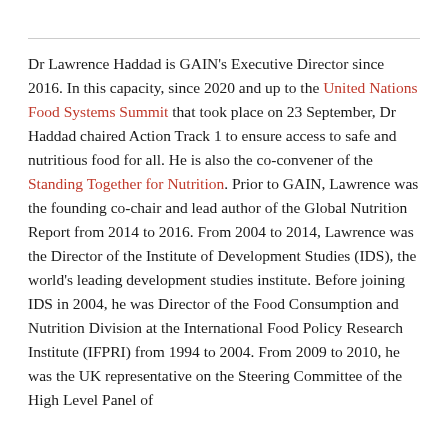Dr Lawrence Haddad is GAIN's Executive Director since 2016. In this capacity, since 2020 and up to the United Nations Food Systems Summit that took place on 23 September, Dr Haddad chaired Action Track 1 to ensure access to safe and nutritious food for all. He is also the co-convener of the Standing Together for Nutrition. Prior to GAIN, Lawrence was the founding co-chair and lead author of the Global Nutrition Report from 2014 to 2016. From 2004 to 2014, Lawrence was the Director of the Institute of Development Studies (IDS), the world's leading development studies institute. Before joining IDS in 2004, he was Director of the Food Consumption and Nutrition Division at the International Food Policy Research Institute (IFPRI) from 1994 to 2004. From 2009 to 2010, he was the UK representative on the Steering Committee of the High Level Panel of